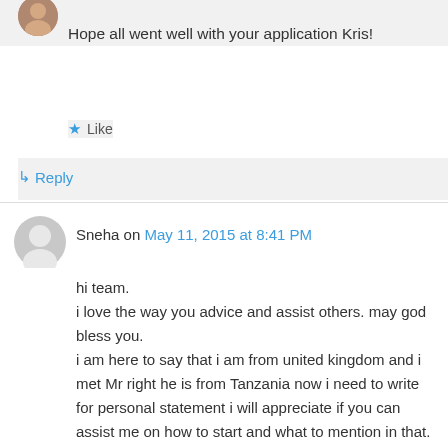Hope all went well with your application Kris!
★ Like
↳ Reply
Sneha on May 11, 2015 at 8:41 PM
hi team.
i love the way you advice and assist others. may god bless you.
i am here to say that i am from united kingdom and i met Mr right he is from Tanzania now i need to write for personal statement i will appreciate if you can assist me on how to start and what to mention in that.